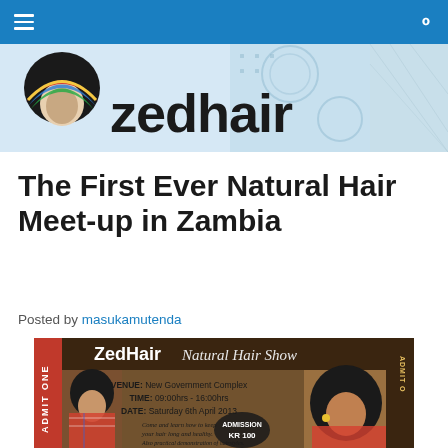Navigation bar with menu and search icons
[Figure (logo): Zedhair logo banner with afro silhouette icon and bold 'zedhair' wordmark on light blue/grey patterned background]
The First Ever Natural Hair Meet-up in Zambia
Posted by masukamutenda
[Figure (photo): ZedHair Natural Hair Show event ticket/flyer: VENUE: New Government Complex, TIME: 09:00hrs - 16:00hrs, DATE: Saturday 6th April 2013. Come and learn how to keep your hair long and healthy. Also practical demonstration of hairstyles. Lots of prizes and giveaways. ADMISSION KR 100. Features two women with natural hair. Brown and dark color scheme. ADMIT ONE printed on ticket stub.]